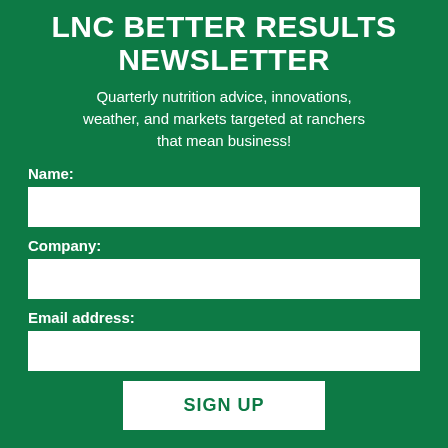LNC BETTER RESULTS NEWSLETTER
Quarterly nutrition advice, innovations, weather, and markets targeted at ranchers that mean business!
Name:
Company:
Email address:
SIGN UP